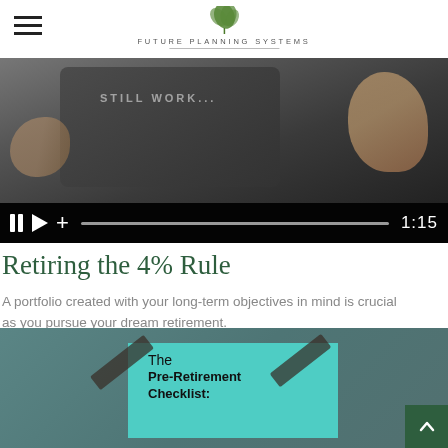FUTURE PLANNING SYSTEMS
[Figure (screenshot): Video thumbnail showing a phone/tablet screen with 'STILL WORKING' text, hands holding device, dark video player controls at bottom with pause, play, plus icons, progress bar, and timestamp 1:15]
Retiring the 4% Rule
A portfolio created with your long-term objectives in mind is crucial as you pursue your dream retirement.
[Figure (photo): Teal/green background with a turquoise card taped with dark tape strips showing text 'The Pre-Retirement Checklist:' and a dark green scroll-to-top button in bottom right corner]